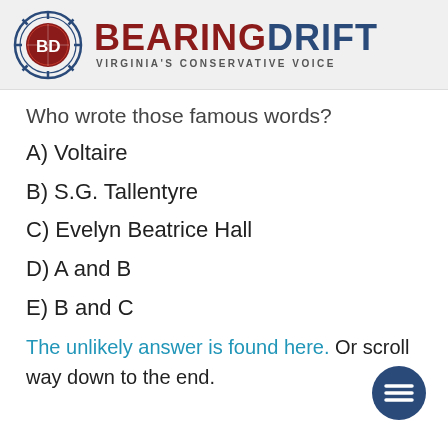[Figure (logo): Bearing Drift logo: compass wheel with BD monogram, red and navy brand name 'BEARINGDRIFT', tagline 'VIRGINIA'S CONSERVATIVE VOICE']
Who wrote those famous words?
A) Voltaire
B) S.G. Tallentyre
C) Evelyn Beatrice Hall
D) A and B
E) B and C
The unlikely answer is found here. Or scroll way down to the end.